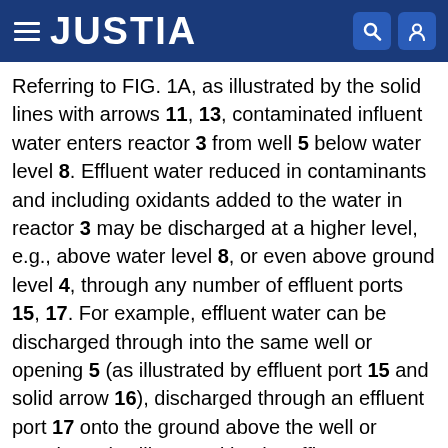JUSTIA
Referring to FIG. 1A, as illustrated by the solid lines with arrows 11, 13, contaminated influent water enters reactor 3 from well 5 below water level 8. Effluent water reduced in contaminants and including oxidants added to the water in reactor 3 may be discharged at a higher level, e.g., above water level 8, or even above ground level 4, through any number of effluent ports 15, 17. For example, effluent water can be discharged through into the same well or opening 5 (as illustrated by effluent port 15 and solid arrow 16), discharged through an effluent port 17 onto the ground above the well or opening 5 (as illustrated by the effluent port 17 and solid arrow 18), discharged into a different well or opening (not shown), discharged to a remote treatment facility for further processing, discharged for irrigation or other water uses, or any combination or variation thereof. The number and location of the effluent ports 15, 17 are